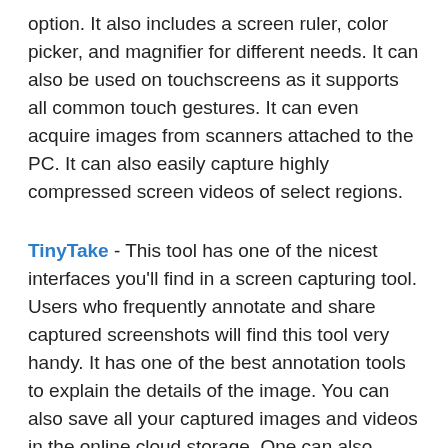option. It also includes a screen ruler, color picker, and magnifier for different needs. It can also be used on touchscreens as it supports all common touch gestures. It can even acquire images from scanners attached to the PC. It can also easily capture highly compressed screen videos of select regions.
TinyTake - This tool has one of the nicest interfaces you'll find in a screen capturing tool. Users who frequently annotate and share captured screenshots will find this tool very handy. It has one of the best annotation tools to explain the details of the image. You can also save all your captured images and videos in the online cloud storage. One can also assign custom shortcut keys for screen capturing to ease the entire process. You can also bulk share your library of images with your network. You can also capture still images from your webcam